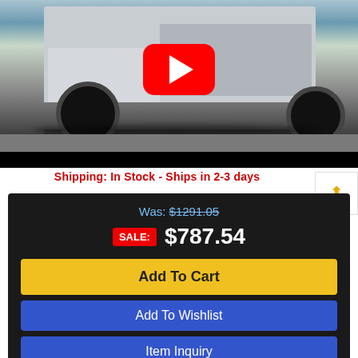[Figure (screenshot): YouTube video thumbnail showing rear view of a truck (silver/white pickup truck) with a YouTube play button overlay in the center. Black bar at bottom.]
Shipping: In Stock - Ships in 2-3 days
Was: $1291.05
SALE: $787.54
Add To Cart
Add To Wishlist
Item Inquiry
Tell A Fri...
Leave a message
×